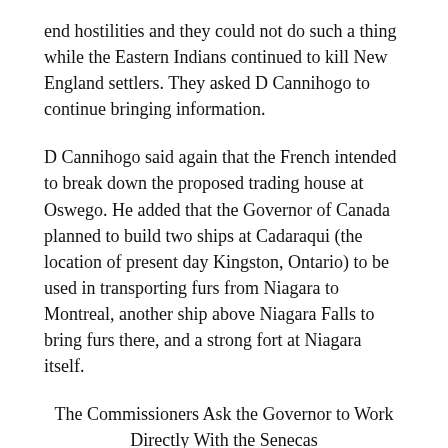end hostilities and they could not do such a thing while the Eastern Indians continued to kill New England settlers. They asked D Cannihogo to continue bringing information.
D Cannihogo said again that the French intended to break down the proposed trading house at Oswego. He added that the Governor of Canada planned to build two ships at Cadaraqui (the location of present day Kingston, Ontario) to be used in transporting furs from Niagara to Montreal, another ship above Niagara Falls to bring furs there, and a strong fort at Niagara itself.
The Commissioners Ask the Governor to Work Directly With the Senecas
The commissioners passed this information on to Governor Burnet in a letter, enclosing a copy of the